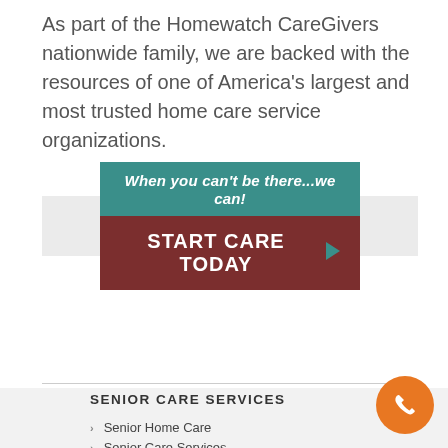As part of the Homewatch CareGivers nationwide family, we are backed with the resources of one of America’s largest and most trusted home care service organizations.
[Figure (infographic): Call-to-action banner with teal top section reading 'When you can’t be there…we can!' and dark red bottom section reading 'START CARE TODAY' with a right-pointing arrow, set on a light grey background.]
SENIOR CARE SERVICES
Senior Home Care
Senior Care Services